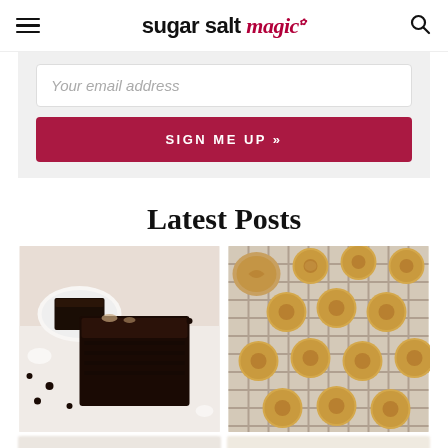sugar salt magic
Your email address
SIGN ME UP »
Latest Posts
[Figure (photo): A dark chocolate loaf or brownie cake sliced, showing rich dark crumb, on a white surface with chocolate chips scattered around.]
[Figure (photo): Golden peanut butter cookies arranged on a cooling rack, viewed from above, with a small bowl of peanut butter visible.]